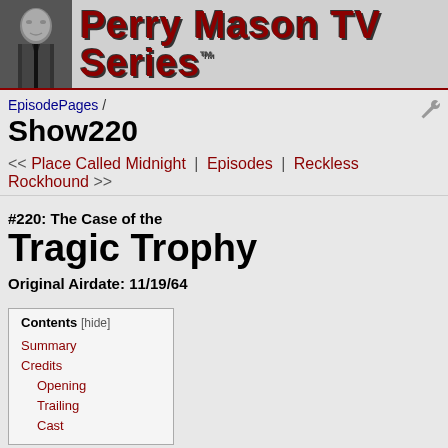[Figure (illustration): Black and white photo of Perry Mason actor in suit, header banner with Perry Mason TV Series logo in dark red/maroon text]
Perry Mason TV Series™
EpisodePages / Show220
<< Place Called Midnight | Episodes | Reckless Rockhound >>
#220: The Case of the Tragic Trophy
Original Airdate: 11/19/64
Contents [hide]
Summary
Credits
Opening
Trailing
Cast